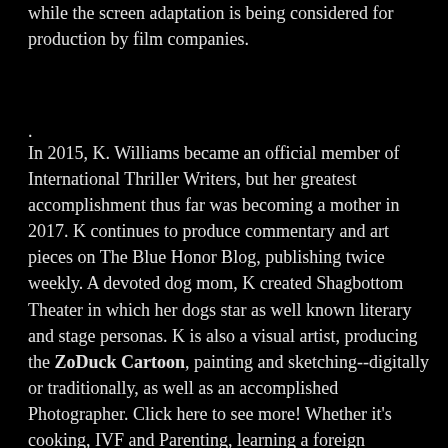while the screen adaptation is being considered for production by film companies.
.
In 2015, K. Williams became an official member of International Thriller Writers, but her greatest accomplishment thus far was becoming a mother in 2017. K continues to produce commentary and art pieces on The Blue Honor Blog, publishing twice weekly. A devoted dog mom, K created Shagbottom Theater in which her dogs star as well known literary and stage personas. K is also a visual artist, producing the ZoDuck Cartoon, painting and sketching--digitally or traditionally, as well as an accomplished Photographer. Click here to see more! Whether it's cooking, IVF and Parenting, learning a foreign language, history or dogs, you'll find something to enjoy and for which to come back.